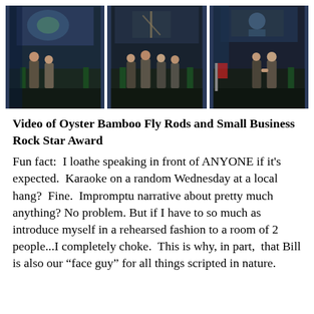[Figure (photo): Three photos side by side showing people on a stage at an award ceremony with large projection screens in the background, green and blue stage lighting.]
Video of Oyster Bamboo Fly Rods and Small Business Rock Star Award
Fun fact:  I loathe speaking in front of ANYONE if it's expected.  Karaoke on a random Wednesday at a local hang?  Fine.  Impromptu narrative about pretty much anything? No problem. But if I have to so much as introduce myself in a rehearsed fashion to a room of 2 people...I completely choke.  This is why, in part,  that Bill is also our “face guy” for all things scripted in nature.